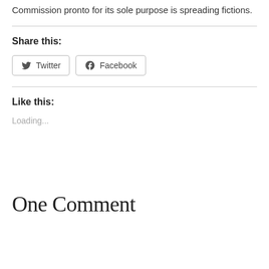Commission pronto for its sole purpose is spreading fictions.
Share this:
[Figure (screenshot): Twitter and Facebook share buttons with icons]
Like this:
Loading...
One Comment